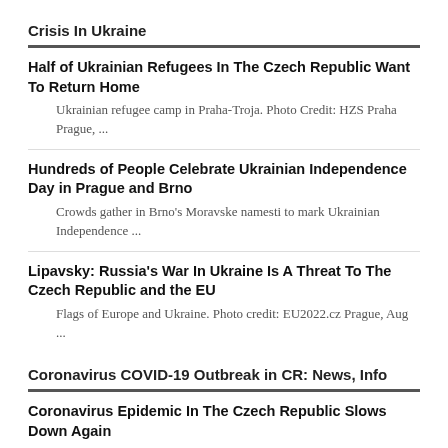Crisis In Ukraine
Half of Ukrainian Refugees In The Czech Republic Want To Return Home
Ukrainian refugee camp in Praha-Troja. Photo Credit: HZS Praha Prague, ...
Hundreds of People Celebrate Ukrainian Independence Day in Prague and Brno
Crowds gather in Brno's Moravske namesti to mark Ukrainian Independence ...
Lipavsky: Russia's War In Ukraine Is A Threat To The Czech Republic and the EU
Flags of Europe and Ukraine. Photo credit: EU2022.cz Prague, Aug ...
Coronavirus COVID-19 Outbreak in CR: News, Info
Coronavirus Epidemic In The Czech Republic Slows Down Again
According to the latest data, the number of hospitalised COVID